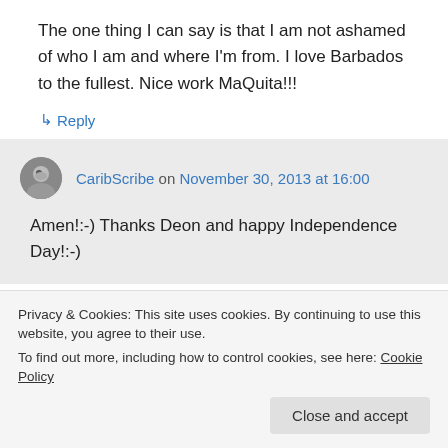The one thing I can say is that I am not ashamed of who I am and where I'm from. I love Barbados to the fullest. Nice work MaQuita!!!
↳ Reply
CaribScribe on November 30, 2013 at 16:00
Amen!:-) Thanks Deon and happy Independence Day!:-)
Privacy & Cookies: This site uses cookies. By continuing to use this website, you agree to their use. To find out more, including how to control cookies, see here: Cookie Policy
Close and accept
There is always that warm fuzzy feeling when